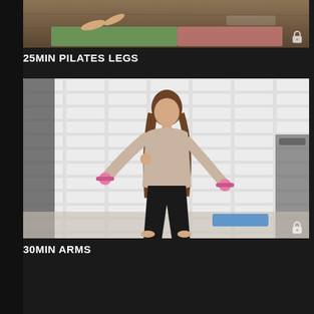[Figure (screenshot): Video thumbnail showing a pilates legs workout with person on a yoga mat on wooden floor]
25MIN PILATES LEGS
[Figure (screenshot): Video thumbnail showing a woman doing arms workout with pink dumbbells, standing in front of a white brick wall backdrop]
30MIN ARMS